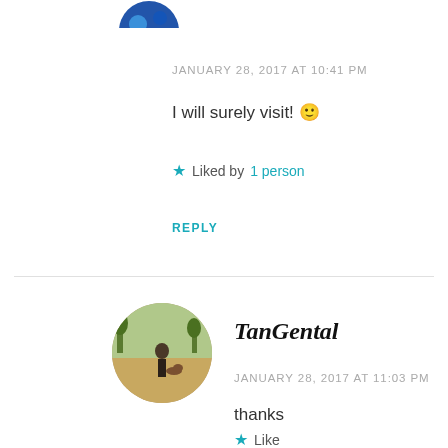[Figure (photo): Partial avatar circle at top, partially cropped]
JANUARY 28, 2017 AT 10:41 PM
I will surely visit! 🙂
★ Liked by 1 person
REPLY
[Figure (photo): Circular avatar photo of person with dog on a path in a park]
TanGental
JANUARY 28, 2017 AT 11:03 PM
thanks
★ Like